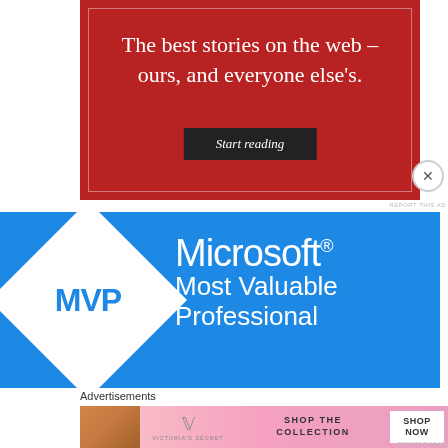[Figure (advertisement): Red background advertisement with white text reading 'The best stories on the web – ours, and everyone else's.' with a dark 'Start reading' button]
[Figure (advertisement): Microsoft MVP (Most Valuable Professional) blue advertisement with white diamond logo containing MVP text and Microsoft branding]
Advertisements
[Figure (advertisement): Victoria's Secret advertisement with model photo, VS logo, 'SHOP THE COLLECTION' text, and 'SHOP NOW' white button]